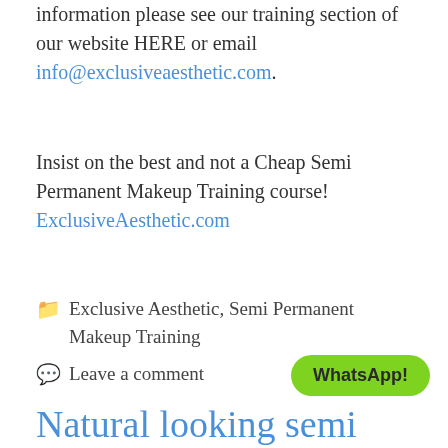information please see our training section of our website HERE or email info@exclusiveaesthetic.com.
Insist on the best and not a Cheap Semi Permanent Makeup Training course! ExclusiveAesthetic.com
📁 Exclusive Aesthetic, Semi Permanent Makeup Training
💬 Leave a comment
WhatsApp!
Natural looking semi